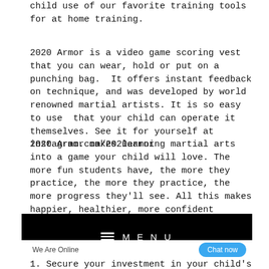child use of our favorite training tools for at home training.
2020 Armor is a video game scoring vest that you can wear, hold or put on a punching bag.  It offers instant feedback on technique, and was developed by world renowned martial artists. It is so easy to use  that your child can operate it themselves. See it for yourself at instagram.com/2020armor
2020 Armor makes learning martial arts into a game your child will love. The more fun students have, the more they practice, the more they practice, the more progress they'll see. All this makes happier, healthier, more confident students.
[Figure (screenshot): Black navigation bar with hamburger icon and MENU text in white letters, followed by a chat widget bar showing 'We Are Online' and a blue 'Chat now' button]
1. Secure your investment in your child's martial